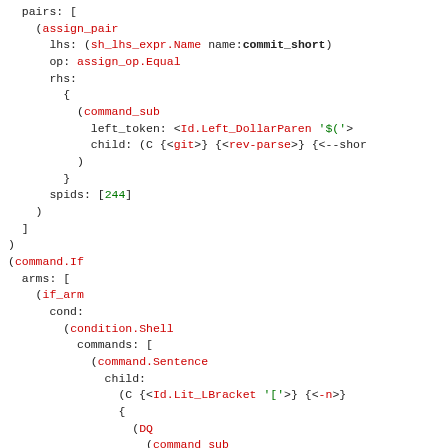[Figure (screenshot): Syntax tree / AST code representation showing shell script parse tree with nodes for assign_pair, command_sub, command.If, if_arm, condition.Shell, command.Sentence, DQ, with colored identifiers (red for type names, green for string literals) and black for field names.]